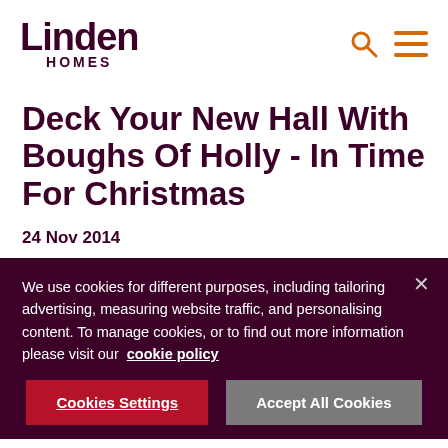Linden HOMES
Deck Your New Hall With Boughs Of Holly - In Time For Christmas
24 Nov 2014
We use cookies for different purposes, including tailoring advertising, measuring website traffic, and personalising content. To manage cookies, or to find out more information please visit our  cookie policy
Cookies Settings  Accept All Cookies